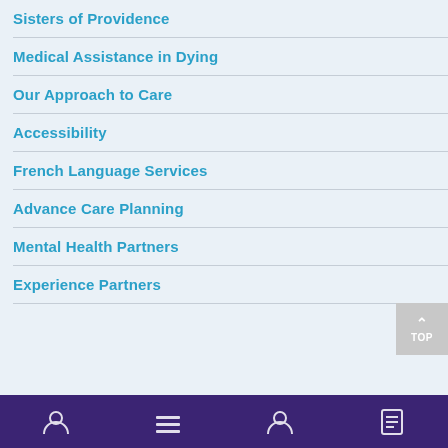Sisters of Providence
Medical Assistance in Dying
Our Approach to Care
Accessibility
French Language Services
Advance Care Planning
Mental Health Partners
Experience Partners
[Figure (other): Back to top button with upward arrow and text TOP]
Purple footer navigation bar with icons